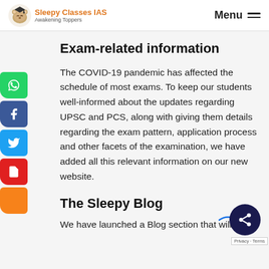Sleepy Classes IAS — Awakening Toppers | Menu
Exam-related information
The COVID-19 pandemic has affected the schedule of most exams. To keep our students well-informed about the updates regarding UPSC and PCS, along with giving them details regarding the exam pattern, application process and other facets of the examination, we have added all this relevant information on our new website.
The Sleepy Blog
We have launched a Blog section that will